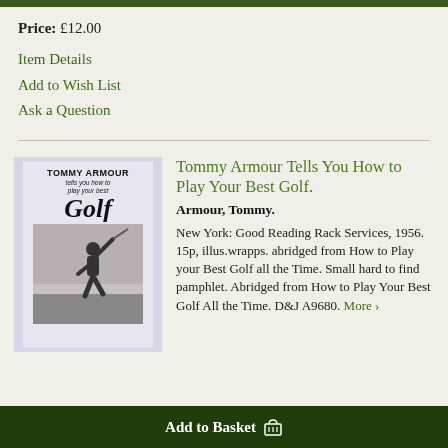Price: £12.00
Item Details
Add to Wish List
Ask a Question
[Figure (photo): Book cover of 'Tommy Armour Tells You How to Play Your Best Golf' showing a golfer mid-swing on the cover]
Tommy Armour Tells You How to Play Your Best Golf.
Armour, Tommy.
New York: Good Reading Rack Services, 1956. 15p, illus.wrapps. abridged from How to Play your Best Golf all the Time. Small hard to find pamphlet. Abridged from How to Play Your Best Golf All the Time. D&J A9680. More >
Add to Basket